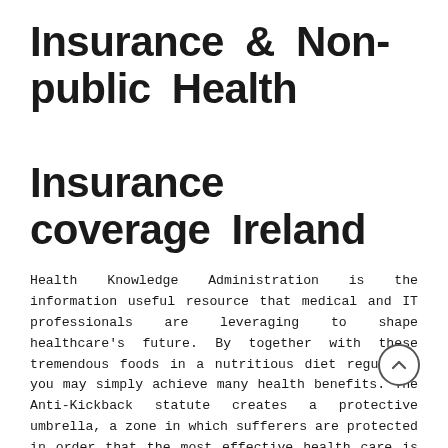Insurance & Non-public Health Insurance coverage Ireland
Health Knowledge Administration is the information useful resource that medical and IT professionals are leveraging to shape healthcare's future. By together with these tremendous foods in a nutritious diet regularly you may simply achieve many health benefits. The Anti-Kickback statute creates a protective umbrella, a zone in which sufferers are protected in order that the most effective health care is supplied.
We offer well being plans for people who qualify for each Medicare and Medicaid. However there can still be a wide variation in the cost of an individual insurance coverage plan, based mostly on what sort and level of coverage you choose. You will even be given quotes for all the major medical insurance coverage companies including Blue Cross...